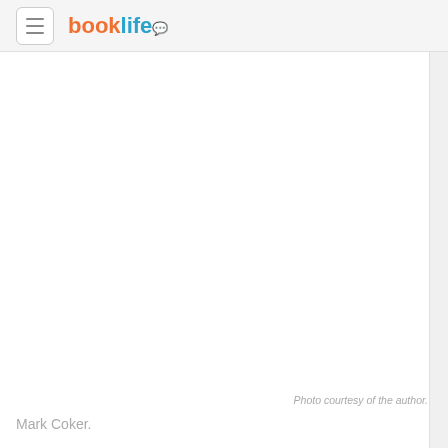booklife
[Figure (photo): Author photo area (white/blank space where author photo would appear)]
Photo courtesy of the author.
Mark Coker.